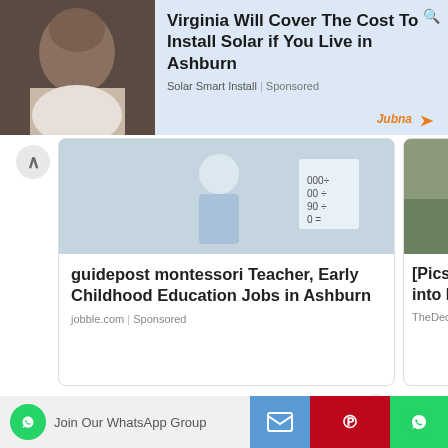[Figure (screenshot): Advertisement banner: photo of an elderly man on left, text on right: 'Virginia Will Cover The Cost To Install Solar if You Live in Ashburn' with source 'Solar Smart Install | Sponsored']
[Figure (screenshot): Ad card 1: guidepost montessori Teacher, Early Childhood Education Jobs in Ashburn - jobble.com | Sponsored]
[Figure (screenshot): Ad card 2 (partial): [Pics] Man 727 into H They Find - TheDecorIdeas | Spo]
Recommended By jubna
The group advised CAN to accept the decision, respect the rule of law and eschew actions capable of causing any breakdown of law and order.
[Figure (screenshot): Bottom toolbar with: WhatsApp group join button, Email share, Pinterest share, WhatsApp share icons]